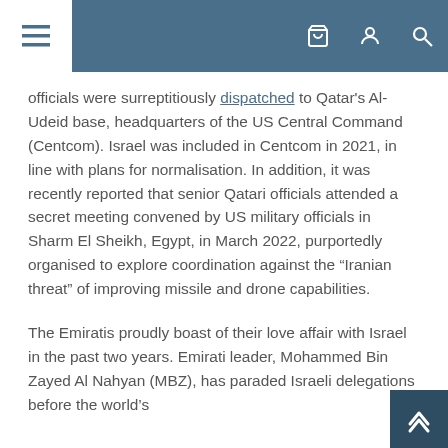Navigation bar with menu, cart, user, and search icons
officials were surreptitiously dispatched to Qatar's Al-Udeid base, headquarters of the US Central Command (Centcom). Israel was included in Centcom in 2021, in line with plans for normalisation. In addition, it was recently reported that senior Qatari officials attended a secret meeting convened by US military officials in Sharm El Sheikh, Egypt, in March 2022, purportedly organised to explore coordination against the “Iranian threat” of improving missile and drone capabilities.
The Emiratis proudly boast of their love affair with Israel in the past two years. Emirati leader, Mohammed Bin Zayed Al Nahyan (MBZ), has paraded Israeli delegations before the world’s